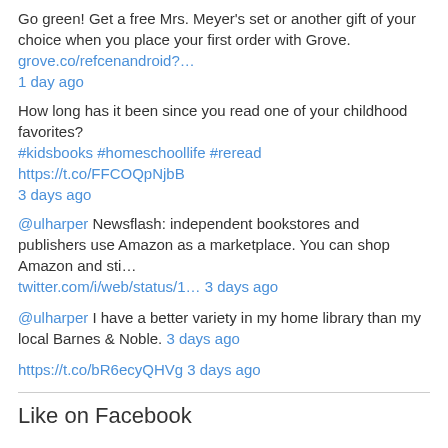Go green! Get a free Mrs. Meyer's set or another gift of your choice when you place your first order with Grove. grove.co/refcenandroid?… 1 day ago
How long has it been since you read one of your childhood favorites? #kidsbooks #homeschoollife #reread https://t.co/FFCOQpNjbB 3 days ago
@ulharper Newsflash: independent bookstores and publishers use Amazon as a marketplace. You can shop Amazon and sti… twitter.com/i/web/status/1… 3 days ago
@ulharper I have a better variety in my home library than my local Barnes & Noble. 3 days ago
https://t.co/bR6ecyQHVg 3 days ago
Like on Facebook